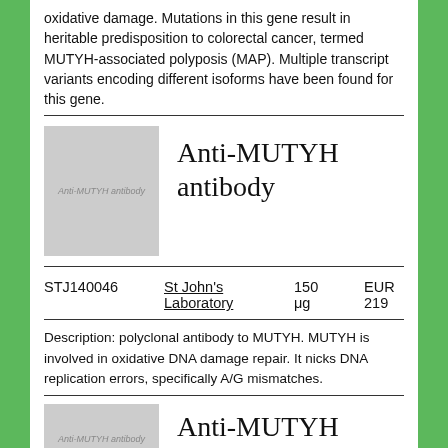oxidative damage. Mutations in this gene result in heritable predisposition to colorectal cancer, termed MUTYH-associated polyposis (MAP). Multiple transcript variants encoding different isoforms have been found for this gene.
[Figure (illustration): Product image placeholder for Anti-MUTYH antibody, grey rectangle with text 'Anti-MUTYH antibody']
Anti-MUTYH antibody
| ID | Supplier | Quantity | Price |
| --- | --- | --- | --- |
| STJ140046 | St John's Laboratory | 150 μg | EUR 219 |
Description: polyclonal antibody to MUTYH. MUTYH is involved in oxidative DNA damage repair. It nicks DNA replication errors, specifically A/G mismatches.
[Figure (illustration): Product image placeholder for second Anti-MUTYH antibody listing, grey rectangle with text 'Anti-MUTYH antibody']
Anti-MUTYH antibody